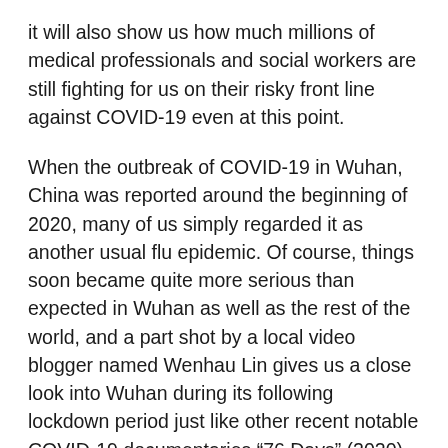it will also show us how much millions of medical professionals and social workers are still fighting for us on their risky front line against COVID-19 even at this point.
When the outbreak of COVID-19 in Wuhan, China was reported around the beginning of 2020, many of us simply regarded it as another usual flu epidemic. Of course, things soon became quite more serious than expected in Wuhan as well as the rest of the world, and a part shot by a local video blogger named Wenhau Lin gives us a close look into Wuhan during its following lockdown period just like other recent notable COVID-19 documentaries “76 Days” (2020) and “In the Same Breath” (2021). As Lin works as a volunteer driver for those hospital workers, we often see how the situation in the city gets worse day by day, and we notice how cautious Lin and many others are for avoiding infection as much as possible. They are the